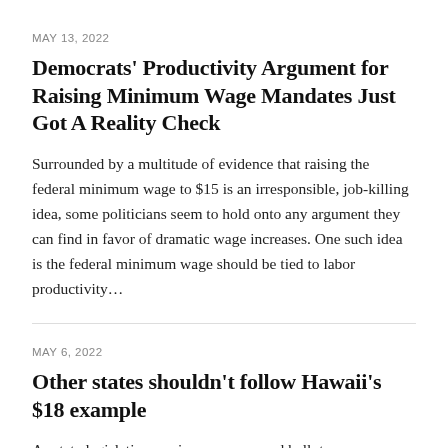MAY 13, 2022
Democrats' Productivity Argument for Raising Minimum Wage Mandates Just Got A Reality Check
Surrounded by a multitude of evidence that raising the federal minimum wage to $15 is an irresponsible, job-killing idea, some politicians seem to hold onto any argument they can find in favor of dramatic wage increases. One such idea is the federal minimum wage should be tied to labor productivity…
MAY 6, 2022
Other states shouldn't follow Hawaii's $18 example
As state legislative sessions wrap up and ballot measures are shaping up for the fall, it's becoming increasingly